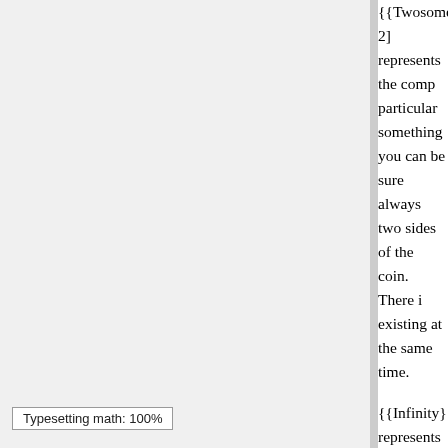{{Twosome}} 2] represents the comp particular something you can be sure always two sides of the coin. There i existing at the same time.
{{Infinity}} represents the unlimited n facets of the hologram. None of thes doesn't make them any less valid in
Now, as to the reason for this whole can regard the Zero as the eternal in anything can take place in, the quali Prime Mover Unmoved. The One is t integrity of it, no matter what takes p and to learn, by creating separatene Infinity represents the unlimited pote
So, despite being eternal and unbrok own existence, experience life, disco possibilities of life indefinitely.
In this apparent paradox, of how one eternally uninvolved and thoroughly eternally unbroken and unified and
Typesetting math: 100%